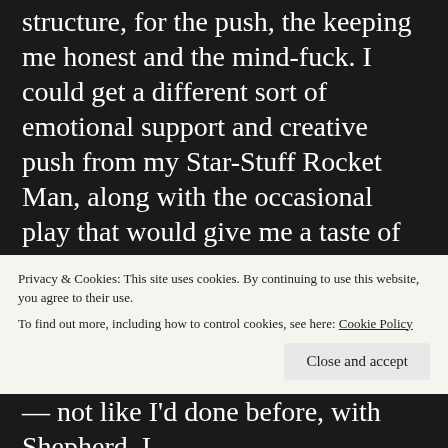structure, for the push, the keeping me honest and the mind-fuck. I could get a different sort of emotional support and creative push from my Star-Stuff Rocket Man, along with the occasional play that would give me a taste of the pain I missed so desperately. I'd been talking with The Professor for some time, about D/s play, and looking forward to exploring with him — and had even broached the subject with my Dragon — but the truth
Privacy & Cookies: This site uses cookies. By continuing to use this website, you agree to their use. To find out more, including how to control cookies, see here: Cookie Policy
— not like I'd done before, with Shepherd. I